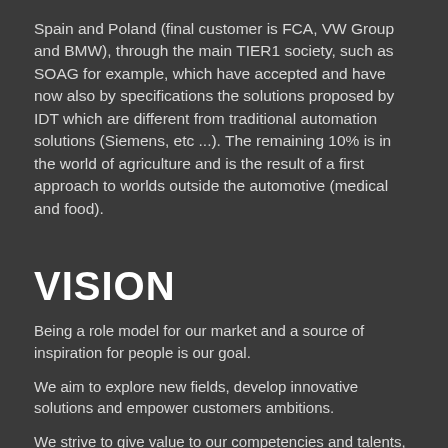Spain and Poland (final customer is FCA, VW Group and BMW), through the main TIER1 society, such as SOAG for example, which have accepted and have now also by specifications the solutions proposed by IDT which are different from traditional automation solutions (Siemens, etc ...). The remaining 10% is in the world of agriculture and is the result of a first approach to worlds outside the automotive (medical and food).
VISION
Being a role model for our market and a source of inspiration for people is our goal.
We aim to explore new fields, develop innovative solutions and empower customers ambitions.
We strive to give value to our competencies and talents,